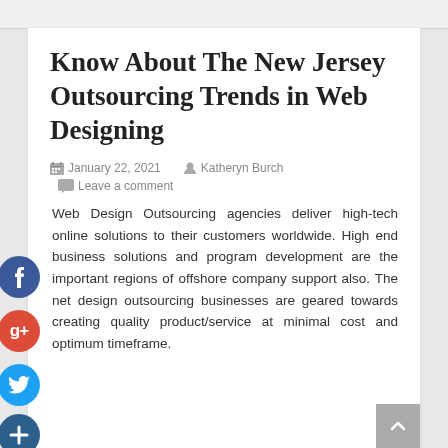Know About The New Jersey Outsourcing Trends in Web Designing
January 22, 2021  Katheryn Burch  Leave a comment
Web Design Outsourcing agencies deliver high-tech online solutions to their customers worldwide. High end business solutions and program development are the important regions of offshore company support also. The net design outsourcing businesses are geared towards creating quality product/service at minimal cost and optimum timeframe.